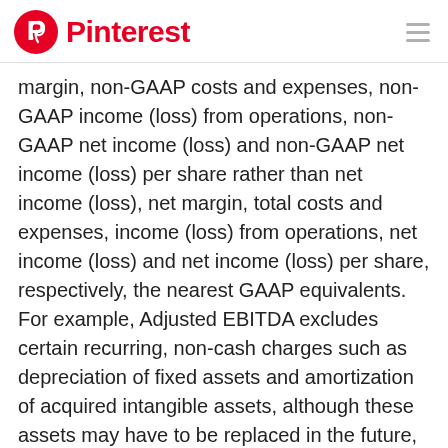Pinterest
margin, non-GAAP costs and expenses, non-GAAP income (loss) from operations, non-GAAP net income (loss) and non-GAAP net income (loss) per share rather than net income (loss), net margin, total costs and expenses, income (loss) from operations, net income (loss) and net income (loss) per share, respectively, the nearest GAAP equivalents. For example, Adjusted EBITDA excludes certain recurring, non-cash charges such as depreciation of fixed assets and amortization of acquired intangible assets, although these assets may have to be replaced in the future, and share-based compensation